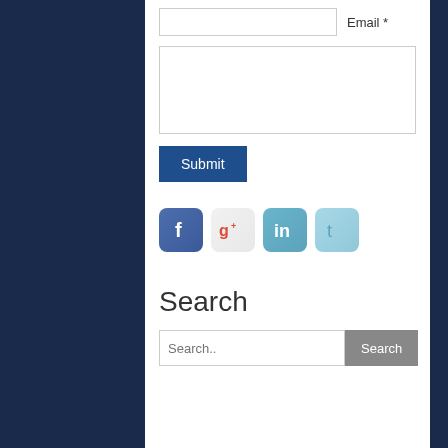Email *
[Figure (screenshot): Social media icon buttons: Facebook, Google+, LinkedIn, Twitter]
Search
Search..